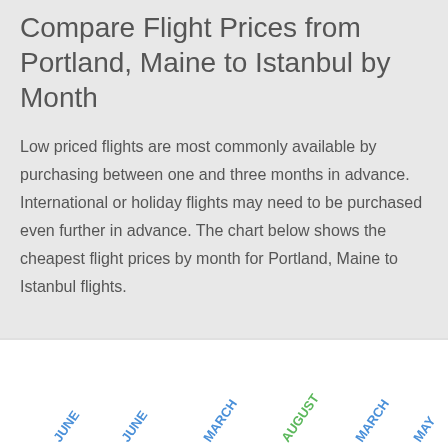Compare Flight Prices from Portland, Maine to Istanbul by Month
Low priced flights are most commonly available by purchasing between one and three months in advance. International or holiday flights may need to be purchased even further in advance. The chart below shows the cheapest flight prices by month for Portland, Maine to Istanbul flights.
[Figure (bar-chart): Partial bar chart showing months along the x-axis (JUNE, JUNE, MARCH, AUGUST, MARCH, MAY visible) with colored diagonal month labels]